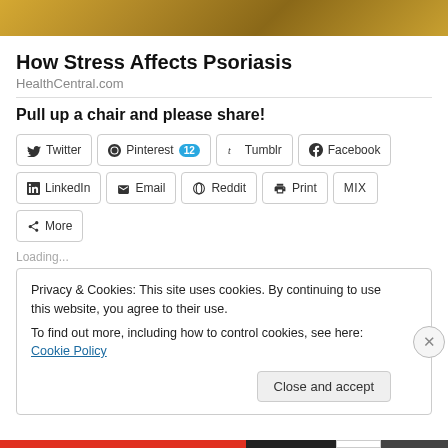[Figure (photo): Partial photo strip at top of page showing a person, golden/amber tones visible]
How Stress Affects Psoriasis
HealthCentral.com
Pull up a chair and please share!
[Figure (screenshot): Social sharing buttons row 1: Twitter, Pinterest (12), Tumblr, Facebook]
[Figure (screenshot): Social sharing buttons row 2: LinkedIn, Email, Reddit, Print, MIX]
[Figure (screenshot): Social sharing button: More]
Loading...
Privacy & Cookies: This site uses cookies. By continuing to use this website, you agree to their use.
To find out more, including how to control cookies, see here: Cookie Policy